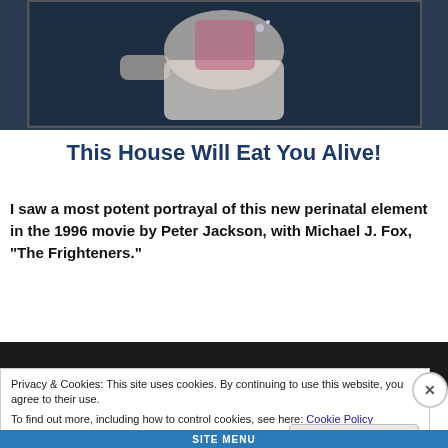[Figure (photo): A dark video still showing a person in white clothing, partially visible, against a dark background — top portion of the page.]
This House Will Eat You Alive!
I saw a most potent portrayal of this new perinatal element in the 1996 movie by Peter Jackson, with Michael J. Fox, “The Frighteners.”
[Figure (screenshot): Dark video player bar area]
Privacy & Cookies: This site uses cookies. By continuing to use this website, you agree to their use.
To find out more, including how to control cookies, see here: Cookie Policy
Close and accept